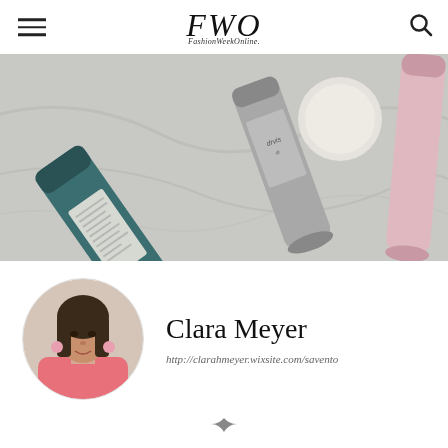FWO FashionWeekOnline.
[Figure (photo): Flat lay photo of beauty/skincare products on a marble surface: a dark teal tube, a silver cylindrical container, a white round compact, and a pink cylindrical product]
[Figure (photo): Circular portrait photo of Clara Meyer, a young woman with long dark hair wearing a pink top and pink earrings]
Clara Meyer
http://clarahmeyer.wixsite.com/savento